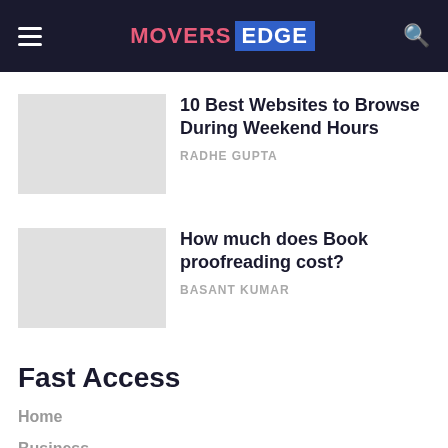MOVERS EDGE
10 Best Websites to Browse During Weekend Hours
RADHE GUPTA
How much does Book proofreading cost?
BASANT KUMAR
Fast Access
Home
Business